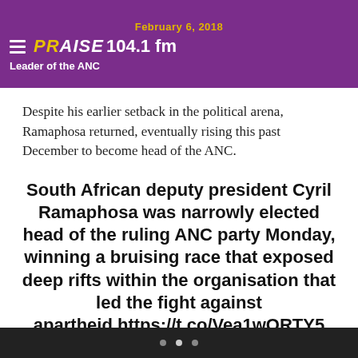February 6, 2018 — Praise 104.1 fm — Leader of the ANC
Despite his earlier setback in the political arena, Ramaphosa returned, eventually rising this past December to become head of the ANC.
South African deputy president Cyril Ramaphosa was narrowly elected head of the ruling ANC party Monday, winning a bruising race that exposed deep rifts within the organisation that led the fight against apartheid.https://t.co/Vea1wORTY5 pic.twitter.com/a8aQaDGINa